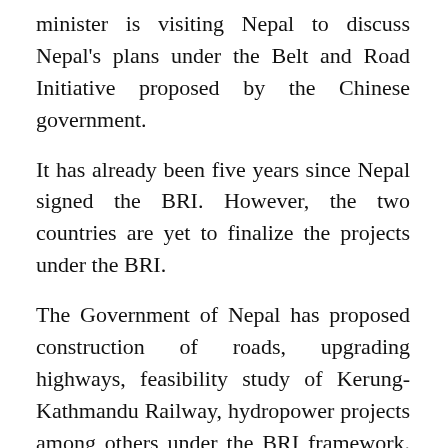minister is visiting Nepal to discuss Nepal's plans under the Belt and Road Initiative proposed by the Chinese government.
It has already been five years since Nepal signed the BRI. However, the two countries are yet to finalize the projects under the BRI.
The Government of Nepal has proposed construction of roads, upgrading highways, feasibility study of Kerung-Kathmandu Railway, hydropower projects among others under the BRI framework. However, the two sides are yet to reach an understanding regarding implementation of these projects.
The two countries had signed agreements for